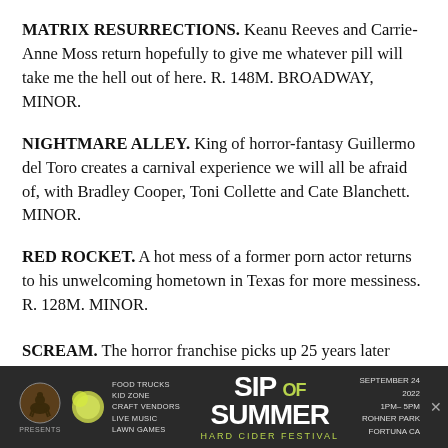MATRIX RESURRECTIONS. Keanu Reeves and Carrie-Anne Moss return hopefully to give me whatever pill will take me the hell out of here. R. 148M. BROADWAY, MINOR.
NIGHTMARE ALLEY. King of horror-fantasy Guillermo del Toro creates a carnival experience we will all be afraid of, with Bradley Cooper, Toni Collette and Cate Blanchett. MINOR.
RED ROCKET. A hot mess of a former porn actor returns to his unwelcoming hometown in Texas for more messiness. R. 128M. MINOR.
SCREAM. The horror franchise picks up 25 years later
[Figure (infographic): Advertisement banner for 'Sip of Summer Hard Cider Festival' presented by Wild Souls Ranch. Features food trucks, kid zone, craft vendors, live music, lawn games. September 24, 2022, 1PM-5PM, Rohner Park, Fortuna CA.]